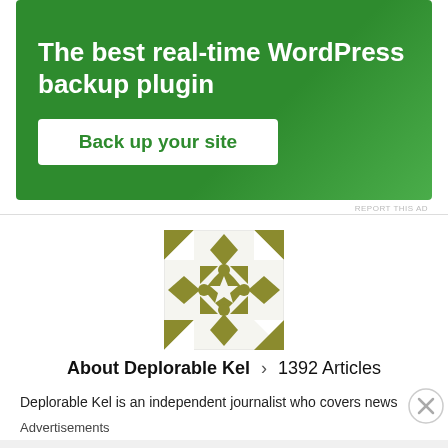[Figure (infographic): Green advertisement banner for WordPress backup plugin with white text and a 'Back up your site' button]
REPORT THIS AD
[Figure (illustration): Author avatar: olive/yellow-green geometric quilt pattern with diamond and flower shapes on white background]
About Deplorable Kel > 1392 Articles
Deplorable Kel is an independent journalist who covers news
Advertisements